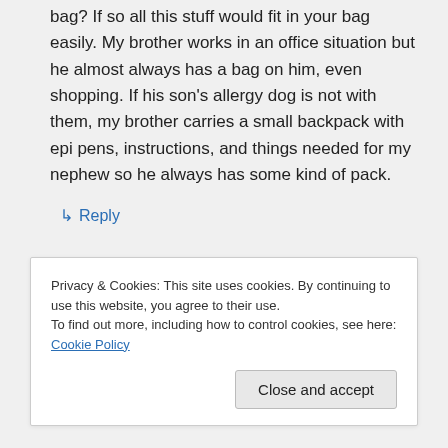bag? If so all this stuff would fit in your bag easily. My brother works in an office situation but he almost always has a bag on him, even shopping. If his son's allergy dog is not with them, my brother carries a small backpack with epi pens, instructions, and things needed for my nephew so he always has some kind of pack.
↳ Reply
Privacy & Cookies: This site uses cookies. By continuing to use this website, you agree to their use.
To find out more, including how to control cookies, see here: Cookie Policy
Close and accept